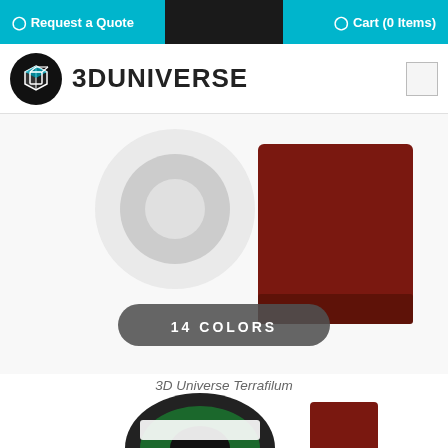Request a Quote   Cart (0 Items)
[Figure (logo): 3D Universe logo: black circle with white 3D box icon, followed by bold text '3DUNIVERSE']
[Figure (photo): Product image showing 3D filament spools — white and dark red spools — with a rounded gray badge overlay reading '14 COLORS']
3D Universe Terrafilum
3D UNIVERSE TERRAFILUM ABS/PLA FILAMENT (2.85MM, 1KG SPOOLS)
$63.00
[Figure (photo): Partial product image at bottom of page showing a black filament spool with green inner hub and a dark red sample square]